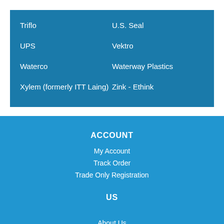Triflo
U.S. Seal
UPS
Vektro
Waterco
Waterway Plastics
Xylem (formerly ITT Laing)
Zink - Ethink
ACCOUNT
My Account
Track Order
Trade Only Registration
US
About Us
Contact Us